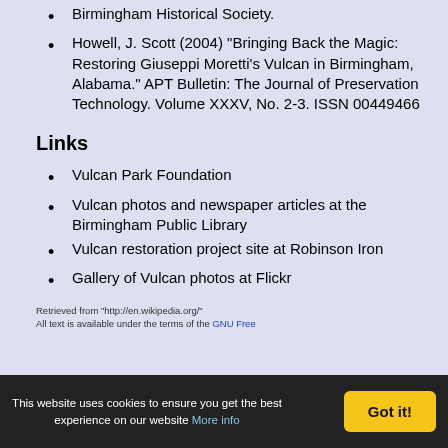Birmingham Historical Society.
Howell, J. Scott (2004) "Bringing Back the Magic: Restoring Giuseppi Moretti's Vulcan in Birmingham, Alabama." APT Bulletin: The Journal of Preservation Technology. Volume XXXV, No. 2-3. ISSN 00449466
Links
Vulcan Park Foundation
Vulcan photos and newspaper articles at the Birmingham Public Library
Vulcan restoration project site at Robinson Iron
Gallery of Vulcan photos at Flickr
Retrieved from "http://en.wikipedia.org/"
All text is available under the terms of the GNU Free
This website uses cookies to ensure you get the best experience on our website More info